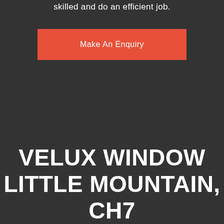skilled and do an efficient job.
Make An Enquiry
VELUX WINDOW LITTLE MOUNTAIN, CH7